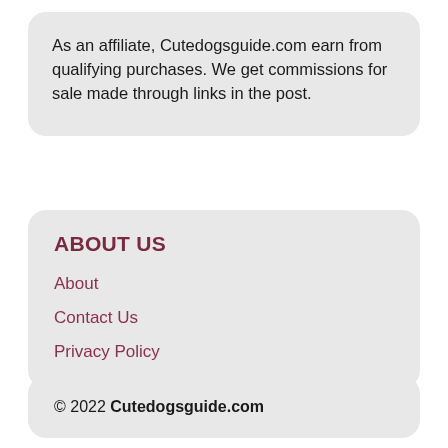As an affiliate, Cutedogsguide.com earn from qualifying purchases. We get commissions for sale made through links in the post.
ABOUT US
About
Contact Us
Privacy Policy
© 2022 Cutedogsguide.com